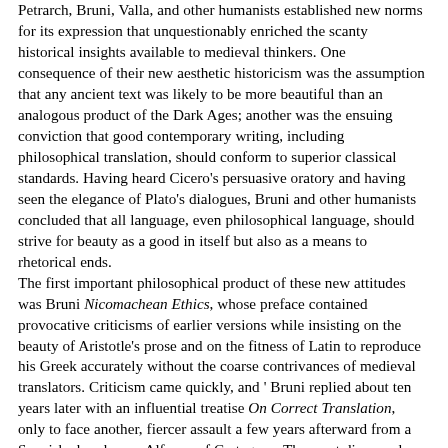Petrarch, Bruni, Valla, and other humanists established new norms for its expression that unquestionably enriched the scanty historical insights available to medieval thinkers. One consequence of their new aesthetic historicism was the assumption that any ancient text was likely to be more beautiful than an analogous product of the Dark Ages; another was the ensuing conviction that good contemporary writing, including philosophical translation, should conform to superior classical standards. Having heard Cicero's persuasive oratory and having seen the elegance of Plato's dialogues, Bruni and other humanists concluded that all language, even philosophical language, should strive for beauty as a good in itself but also as a means to rhetorical ends. The first important philosophical product of these new attitudes was Bruni Nicomachean Ethics, whose preface contained provocative criticisms of earlier versions while insisting on the beauty of Aristotle's prose and on the fitness of Latin to reproduce his Greek accurately without the coarse contrivances of medieval translators. Criticism came quickly, and ' Bruni replied about ten years later with an influential treatise On Correct Translation, only to face another, fiercer assault a few years afterward from a Spanish churchman, Alfonso of Cartagena. The most discussed items in the 'Ethics controversy' were Bruni's misunderstanding of the Greek term tagathon, an unusual spelling which he took to mean 'supreme good' in a place where Aristotle meant only 'good', and his reformulation of a rule he had learned from Chrysoloras, that the translator should render meanings before worrying about words. At a